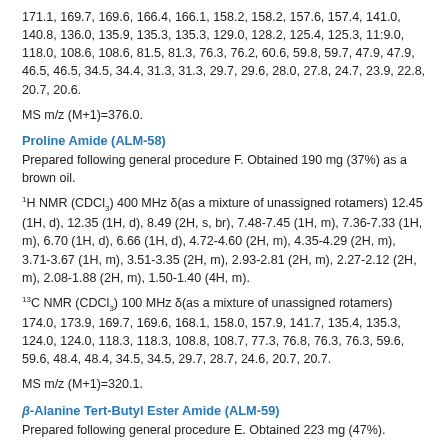171.1, 169.7, 169.6, 166.4, 166.1, 158.2, 158.2, 157.6, 157.4, 141.0, 140.8, 136.0, 135.9, 135.3, 135.3, 129.0, 128.2, 125.4, 125.3, 11:9.0, 118.0, 108.6, 108.6, 81.5, 81.3, 76.3, 76.2, 60.6, 59.8, 59.7, 47.9, 47.9, 46.5, 46.5, 34.5, 34.4, 31.3, 31.3, 29.7, 29.6, 28.0, 27.8, 24.7, 23.9, 22.8, 20.7, 20.6.
MS m/z (M+1)=376.0.
Proline Amide (ALM-58)
Prepared following general procedure F. Obtained 190 mg (37%) as a brown oil.
1H NMR (CDCl3) 400 MHz δ(as a mixture of unassigned rotamers) 12.45 (1H, d), 12.35 (1H, d), 8.49 (2H, s, br), 7.48-7.45 (1H, m), 7.36-7.33 (1H, m), 6.70 (1H, d), 6.66 (1H, d), 4.72-4.60 (2H, m), 4.35-4.29 (2H, m), 3.71-3.67 (1H, m), 3.51-3.35 (2H, m), 2.93-2.81 (2H, m), 2.27-2.12 (2H, m), 2.08-1.88 (2H, m), 1.50-1.40 (4H, m).
13C NMR (CDCl3) 100 MHz δ(as a mixture of unassigned rotamers) 174.0, 173.9, 169.7, 169.6, 168.1, 158.0, 157.9, 141.7, 135.4, 135.3, 124.0, 124.0, 118.3, 118.3, 108.8, 108.7, 77.3, 76.8, 76.3, 76.3, 59.6, 59.6, 48.4, 48.4, 34.5, 34.5, 29.7, 28.7, 24.6, 20.7, 20.7.
MS m/z (M+1)=320.1.
β-Alanine Tert-Butyl Ester Amide (ALM-59)
Prepared following general procedure E. Obtained 223 mg (47%).